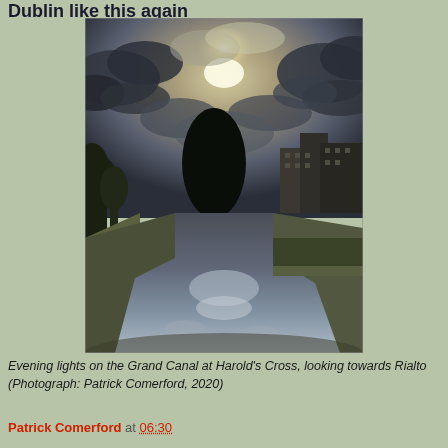Dublin like this again
[Figure (photo): Evening lights on the Grand Canal at Harold's Cross, looking towards Rialto. A dramatic HDR-processed photograph showing the canal waterway reflecting dramatic cloudy sky with sun breaking through clouds. Trees line the left bank, buildings visible on the right, and a large dark tree silhouette stands in the centre background.]
Evening lights on the Grand Canal at Harold's Cross, looking towards Rialto (Photograph: Patrick Comerford, 2020)
Patrick Comerford at 06:30